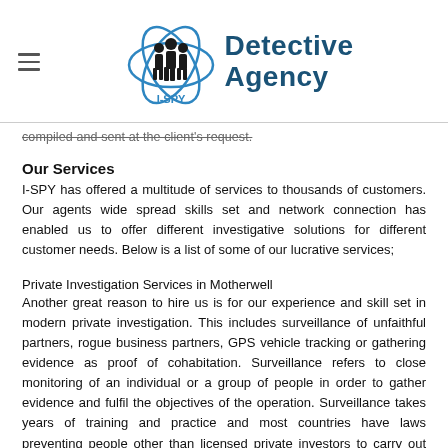I-SPY Detective Agency
compiled and sent at the client's request.
Our Services
I-SPY has offered a multitude of services to thousands of customers. Our agents wide spread skills set and network connection has enabled us to offer different investigative solutions for different customer needs. Below is a list of some of our lucrative services;
Private Investigation Services in Motherwell
Another great reason to hire us is for our experience and skill set in modern private investigation. This includes surveillance of unfaithful partners, rogue business partners, GPS vehicle tracking or gathering evidence as proof of cohabitation. Surveillance refers to close monitoring of an individual or a group of people in order to gather evidence and fulfil the objectives of the operation. Surveillance takes years of training and practice and most countries have laws preventing people other than licensed private investors to carry out surveillance otherwise you can be